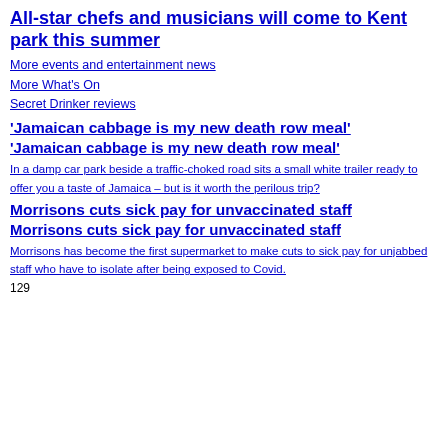All-star chefs and musicians will come to Kent park this summer
More events and entertainment news
More What's On
Secret Drinker reviews
'Jamaican cabbage is my new death row meal'
'Jamaican cabbage is my new death row meal'
In a damp car park beside a traffic-choked road sits a small white trailer ready to offer you a taste of Jamaica – but is it worth the perilous trip?
Morrisons cuts sick pay for unvaccinated staff
Morrisons cuts sick pay for unvaccinated staff
Morrisons has become the first supermarket to make cuts to sick pay for unjabbed staff who have to isolate after being exposed to Covid.
129